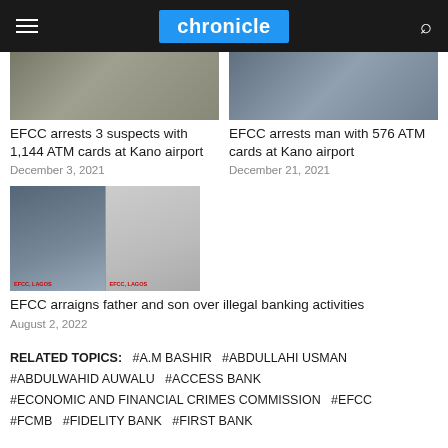chronicle
[Figure (photo): EFCC arrests 3 suspects with 1,144 ATM cards at Kano airport - thumbnail photo]
EFCC arrests 3 suspects with 1,144 ATM cards at Kano airport
December 3, 2021
[Figure (photo): EFCC arrests man with 576 ATM cards at Kano airport - thumbnail photo]
EFCC arrests man with 576 ATM cards at Kano airport
December 21, 2021
[Figure (photo): EFCC arraigns father and son over illegal banking activities - mugshot photos with EFCC Lagos placard]
EFCC arraigns father and son over illegal banking activities
August 2, 2022
RELATED TOPICS: #A.M BASHIR #ABDULLAHI USMAN #ABDULWAHID AUWALU #ACCESS BANK #ECONOMIC AND FINANCIAL CRIMES COMMISSION #EFCC #FCMB #FIDELITY BANK #FIRST BANK